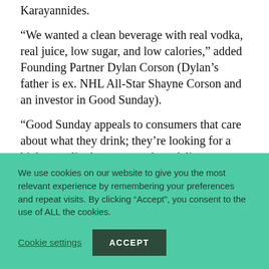Karayannides.
“We wanted a clean beverage with real vodka, real juice, low sugar, and low calories,” added Founding Partner Dylan Corson (Dylan’s father is ex. NHL All-Star Shayne Corson and an investor in Good Sunday).
“Good Sunday appeals to consumers that care about what they drink; they’re looking for a higher quality beverage and we deliver on that” said Partner and Director Chris Noll.
We use cookies on our website to give you the most relevant experience by remembering your preferences and repeat visits. By clicking “Accept”, you consent to the use of ALL the cookies.
Cookie settings
ACCEPT